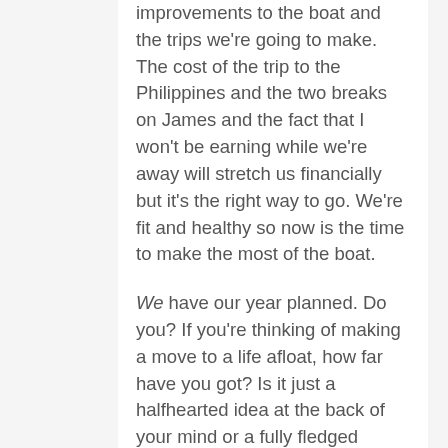improvements to the boat and the trips we're going to make. The cost of the trip to the Philippines and the two breaks on James and the fact that I won't be earning while we're away will stretch us financially but it's the right way to go. We're fit and healthy so now is the time to make the most of the boat.
We have our year planned. Do you? If you're thinking of making a move to a life afloat, how far have you got? Is it just a halfhearted idea at the back of your mind or a fully fledged commitment to change your life for the better?
It's not too late to make New Year resolutions you know. In don't know about you, but these days times passes